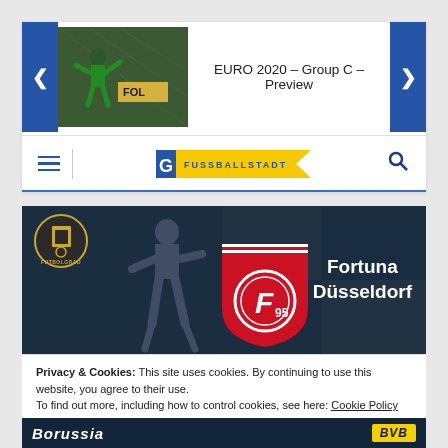EURO 2020 – Group C – Preview
[Figure (screenshot): Website header with navigation: hamburger menu, Fussballstadt logo, and search icon. Slider showing a goalkeeper image with arrow navigation buttons.]
[Figure (photo): Fortuna Düsseldorf club banner with dark background, player silhouette, Fortuna crest (red shield with F95), and text 'Fortuna Düsseldorf']
Privacy & Cookies: This site uses cookies. By continuing to use this website, you agree to their use.
To find out more, including how to control cookies, see here: Cookie Policy
Close and accept
Borussia BVB